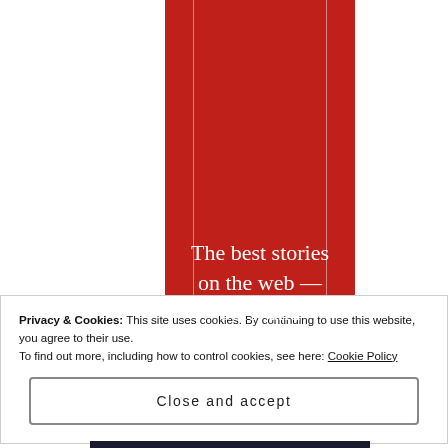[Figure (illustration): Red vertical banner with white vertical lines on each side and centered white serif text reading: The best stories on the web — ours, and everyone else's.]
Privacy & Cookies: This site uses cookies. By continuing to use this website, you agree to their use.
To find out more, including how to control cookies, see here: Cookie Policy
Close and accept